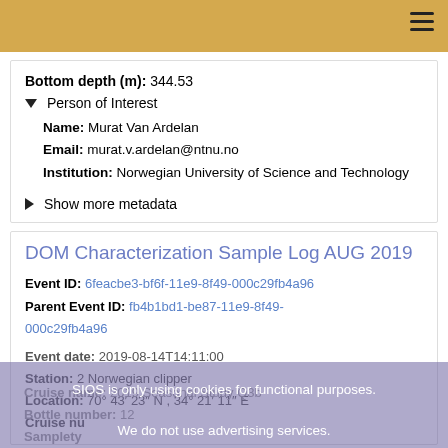Bottom depth (m): 344.53
▼ Person of Interest
Name: Murat Van Ardelan
Email: murat.v.ardelan@ntnu.no
Institution: Norwegian University of Science and Technology
▶ Show more metadata
DOM Characterization Sample Log AUG 2019
Event ID: 6feacbe3-bf6f-11e9-8f49-000c29fb4a96
Parent Event ID: fb4b1bd1-be87-11e9-8f49-000c29fb4a96
Event date: 2019-08-14T14:11:00
Station: 2 Norwegian clipper
Location: 70° 43′ 23″ N , 34° 21′ 11″ E
Cruise nu...
Cruise name: 2019 Seasonal Study Q3b
Bottle number: 12
Samplety...
Sampling protocol: Dissolved Organic mater...
SIOS is only using cookies for functional purposes.
We do not use advertising services.
I've read it   More information